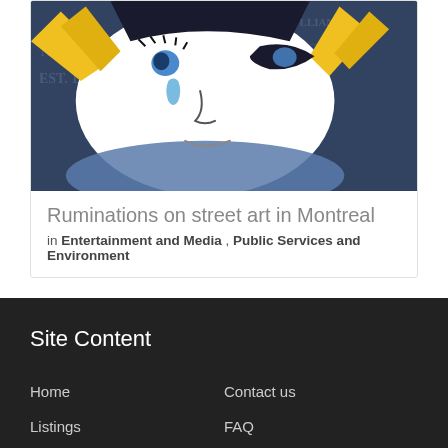[Figure (illustration): Street art illustration showing a crying figure with blue eyes and a teardrop, with yellow wing-like elements, on a dark blue newspaper-textured background]
Ruminations on street art in Montreal
in Entertainment and Media , Public Services and Environment
Site Content
Home
Contact us
Listings
FAQ
Events
Sitemap
Classifieds
Terms of Use
Blog
Privacy Policy